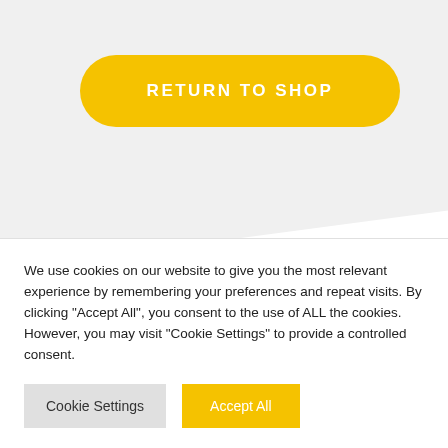[Figure (other): Yellow rounded rectangle button with text RETURN TO SHOP on a light grey angled background section]
[Figure (other): Yellow horizontal divider line]
We use cookies on our website to give you the most relevant experience by remembering your preferences and repeat visits. By clicking "Accept All", you consent to the use of ALL the cookies. However, you may visit "Cookie Settings" to provide a controlled consent.
Cookie Settings
Accept All